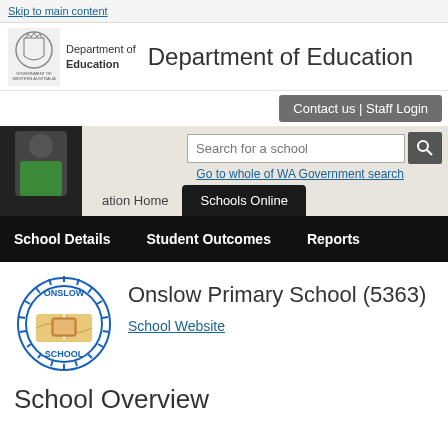Skip to main content
Department of Education
Contact us | Staff Login
Search for a school
Go to whole of WA Government search
ation Home   Schools Online
School Details   Student Outcomes   Reports
[Figure (logo): Onslow Primary School circular logo with text ONSLOW SCHOOL and road graphic]
Onslow Primary School (5363)
School Website
School Overview